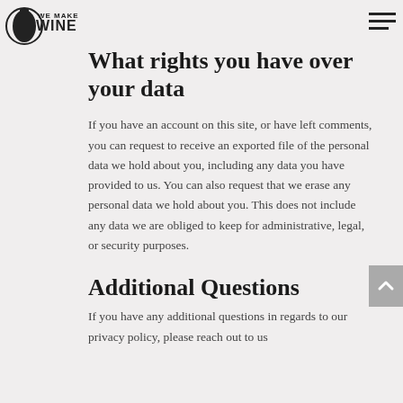We Make Wine — navigation logo and hamburger menu
What rights you have over your data
If you have an account on this site, or have left comments, you can request to receive an exported file of the personal data we hold about you, including any data you have provided to us. You can also request that we erase any personal data we hold about you. This does not include any data we are obliged to keep for administrative, legal, or security purposes.
Additional Questions
If you have any additional questions in regards to our privacy policy, please reach out to us